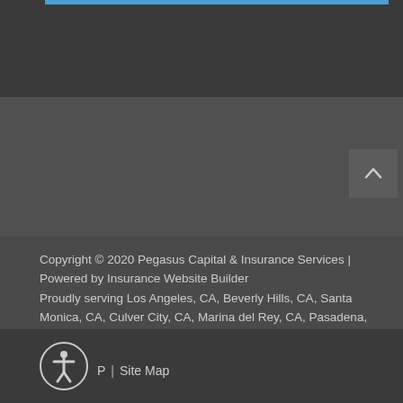Copyright © 2020 Pegasus Capital & Insurance Services | Powered by Insurance Website Builder
Proudly serving Los Angeles, CA, Beverly Hills, CA, Santa Monica, CA, Culver City, CA, Marina del Rey, CA, Pasadena, CA, and surrounding areas. Licensed in CA. License #0E86560.
Privacy Policy | Site Map